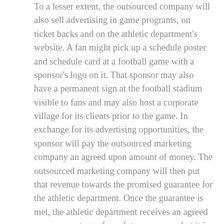To a lesser extent, the outsourced company will also sell advertising in game programs, on ticket backs and on the athletic department's website. A fan might pick up a schedule poster and schedule card at a football game with a sponsor's logo on it. That sponsor may also have a permanent sign at the football stadium visible to fans and may also host a corporate village for its clients prior to the game. In exchange for its advertising opportunities, the sponsor will pay the outsourced marketing company an agreed upon amount of money. The outsourced marketing company will then put that revenue towards the promised guarantee for the athletic department. Once the guarantee is met, the athletic department receives an agreed upon percentage of any future revenue, but it is there that the outsourced company earns its greatest financial sales commission. If this financial model is not used the straight revenue sharing of each sponsorship sold is another viable option.
As these outsourced marketing companies gain more schools under their watch, they spread their sales